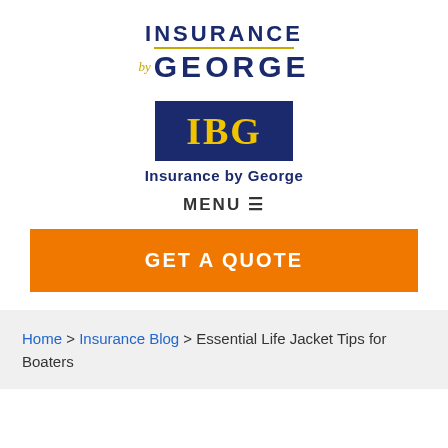[Figure (logo): Insurance by George text logo with gold divider lines and italic 'by' in gold]
[Figure (logo): IBG blue rectangle logo with gold letters IBG and 'Insurance by George' subtitle]
MENU ≡
GET A QUOTE
Home > Insurance Blog > Essential Life Jacket Tips for Boaters